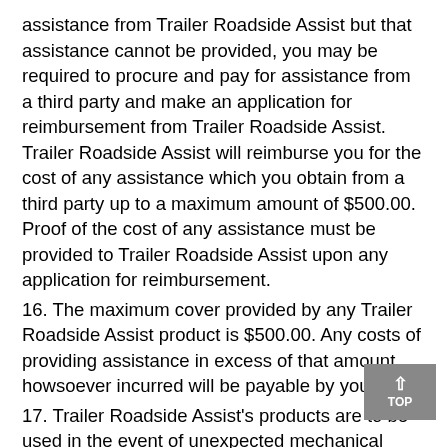assistance from Trailer Roadside Assist but that assistance cannot be provided, you may be required to procure and pay for assistance from a third party and make an application for reimbursement from Trailer Roadside Assist. Trailer Roadside Assist will reimburse you for the cost of any assistance which you obtain from a third party up to a maximum amount of $500.00. Proof of the cost of any assistance must be provided to Trailer Roadside Assist upon any application for reimbursement.
16. The maximum cover provided by any Trailer Roadside Assist product is $500.00. Any costs of providing assistance in excess of that amount howsoever incurred will be payable by you.
17. Trailer Roadside Assist's products are to be used in the event of unexpected mechanical failure or unforeseen damage. Assistance does not extend to cover maintenance or permanent repairs. Any maintenance or major mechanical repairs are your